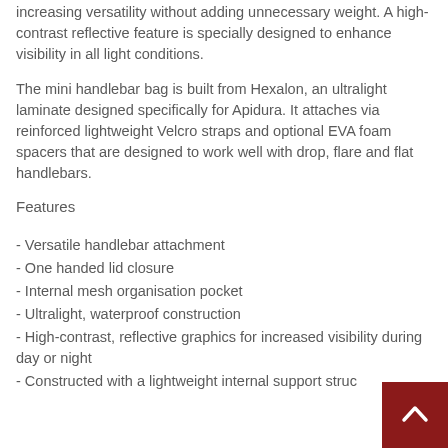increasing versatility without adding unnecessary weight. A high-contrast reflective feature is specially designed to enhance visibility in all light conditions.
The mini handlebar bag is built from Hexalon, an ultralight laminate designed specifically for Apidura. It attaches via reinforced lightweight Velcro straps and optional EVA foam spacers that are designed to work well with drop, flare and flat handlebars.
Features
- Versatile handlebar attachment
- One handed lid closure
- Internal mesh organisation pocket
- Ultralight, waterproof construction
- High-contrast, reflective graphics for increased visibility during day or night
- Constructed with a lightweight internal support struc…